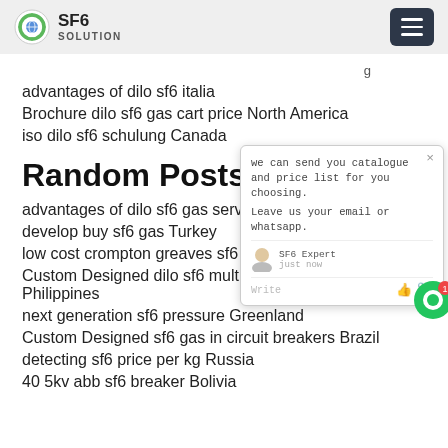SF6 SOLUTION
advantages of dilo sf6 italia
Brochure dilo sf6 gas cart price North America
iso dilo sf6 schulung Canada
Random Posts:
advantages of dilo sf6 gas service cart N[...] l
develop buy sf6 gas Turkey
low cost crompton greaves sf6 circuit br[...] and
Custom Designed dilo sf6 multi analyser price Philippines
next generation sf6 pressure Greenland
Custom Designed sf6 gas in circuit breakers Brazil
detecting sf6 price per kg Russia
40 5kv abb sf6 breaker Bolivia